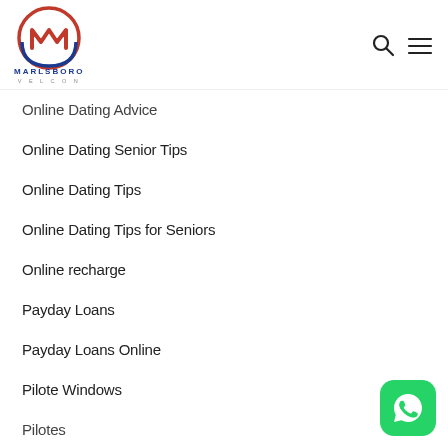Marlsboro Velcon
Online Dating Advice
Online Dating Senior Tips
Online Dating Tips
Online Dating Tips for Seniors
Online recharge
Payday Loans
Payday Loans Online
Pilote Windows
Pilotes